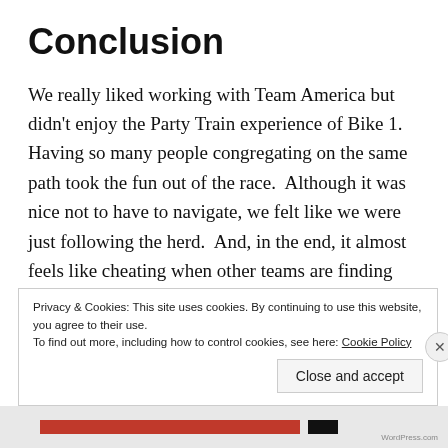Conclusion
We really liked working with Team America but didn't enjoy the Party Train experience of Bike 1.  Having so many people congregating on the same path took the fun out of the race.  Although it was nice not to have to navigate, we felt like we were just following the herd.  And, in the end, it almost feels like cheating when other teams are finding the checkpoints.  That's why, even though we may have come ahead of the Canyoneros in
Privacy & Cookies: This site uses cookies. By continuing to use this website, you agree to their use.
To find out more, including how to control cookies, see here: Cookie Policy
Close and accept